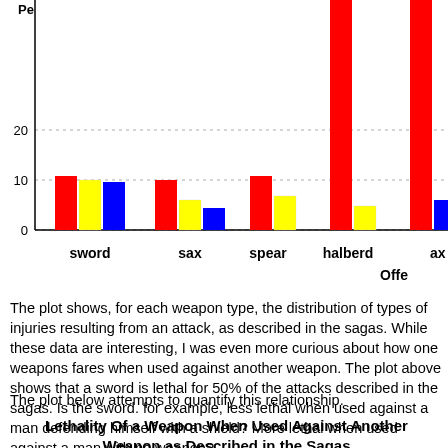[Figure (grouped-bar-chart): Offense by weapon type (partial)]
The plot shows, for each weapon type, the distribution of types of injuries resulting from an attack, as described in the sagas. While these data are interesting, I was even more curious about how one weapons fares when used against another weapon. The plot above shows that a sword is lethal for 50% of the attacks described in the sagas. Is the sword. for example, less lethal when used against a man defending himself with a shield? More lethal when used against a man with no weapon?
The plot below attempts to quantify this relationship.
Lethality Of a Weapon When Used Against Another Weapon as Described in the Sagas